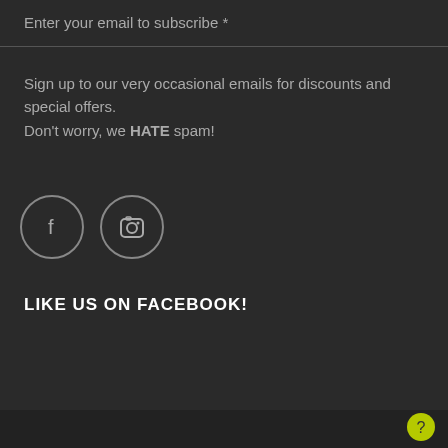Enter your email to subscribe *
Sign up to our very occasional emails for discounts and special offers. Don't worry, we HATE spam!
[Figure (illustration): Two circular social media icons: Facebook (f) and Instagram (camera icon), outlined circles on dark background]
LIKE US ON FACEBOOK!